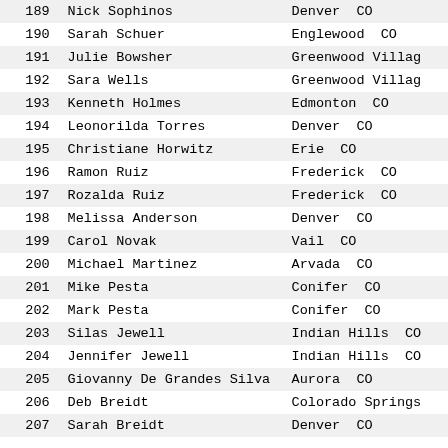| # | Name | City State |
| --- | --- | --- |
| 189 | Nick Sophinos | Denver  CO |
| 190 | Sarah Schuer | Englewood  CO |
| 191 | Julie Bowsher | Greenwood Village |
| 192 | Sara Wells | Greenwood Village |
| 193 | Kenneth Holmes | Edmonton  CO |
| 194 | Leonorilda Torres | Denver  CO |
| 195 | Christiane Horwitz | Erie  CO |
| 196 | Ramon Ruiz | Frederick  CO |
| 197 | Rozalda Ruiz | Frederick  CO |
| 198 | Melissa Anderson | Denver  CO |
| 199 | Carol Novak | Vail  CO |
| 200 | Michael Martinez | Arvada  CO |
| 201 | Mike Pesta | Conifer  CO |
| 202 | Mark Pesta | Conifer  CO |
| 203 | Silas Jewell | Indian Hills  CO |
| 204 | Jennifer Jewell | Indian Hills  CO |
| 205 | Giovanny De Grandes Silva | Aurora  CO |
| 206 | Deb Breidt | Colorado Springs |
| 207 | Sarah Breidt | Denver  CO |